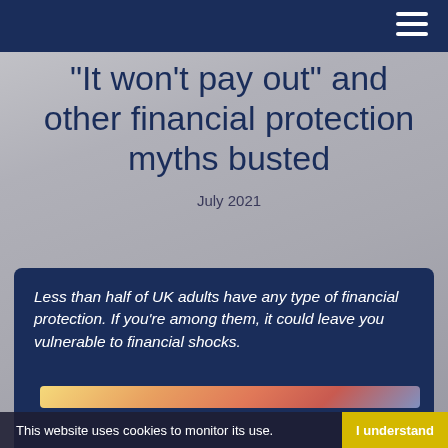"It won’t pay out" and other financial protection myths busted
July 2021
Less than half of UK adults have any type of financial protection. If you’re among them, it could leave you vulnerable to financial shocks.
[Figure (photo): Abstract colourful background image with warm orange, red and blue tones suggesting financial documents or papers]
This website uses cookies to monitor its use.